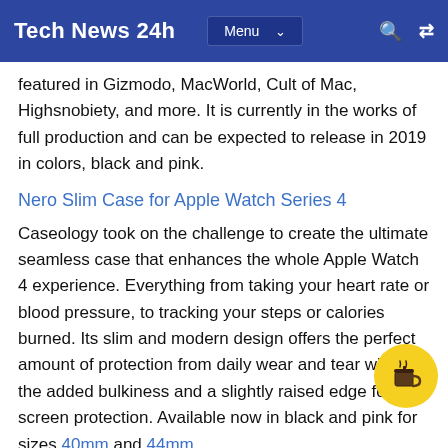Tech News 24h
featured in Gizmodo, MacWorld, Cult of Mac, Highsnobiety, and more. It is currently in the works of full production and can be expected to release in 2019 in colors, black and pink.
Nero Slim Case for Apple Watch Series 4
Caseology took on the challenge to create the ultimate seamless case that enhances the whole Apple Watch 4 experience. Everything from taking your heart rate or blood pressure, to tracking your steps or calories burned. Its slim and modern design offers the perfect amount of protection from daily wear and tear without the added bulkiness and a slightly raised edge for screen protection. Available now in black and pink for sizes 40mm and 44mm.
Be sure to be on the lookout for Caseology's next